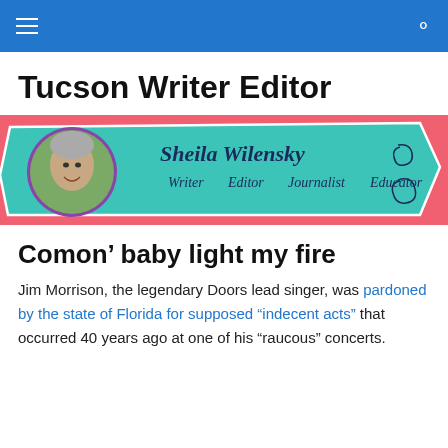Tucson Writer Editor — navigation bar
Tucson Writer Editor
[Figure (illustration): Banner image for Sheila Wilensky with coral/salmon background and teal ribbon design. Shows a circular portrait photo of a woman with gray hair on the left. Text on teal ribbon reads: 'Sheila Wilensky' in script at top, and 'Writer  Editor  Journalist  Educator' below in handwritten style. Decorative spiral motifs on right side.]
Comon’ baby light my fire
Jim Morrison, the legendary Doors lead singer, was pardoned by the state of Florida for supposed “indecent acts” that occurred 40 years ago at one of his “raucous” concerts.